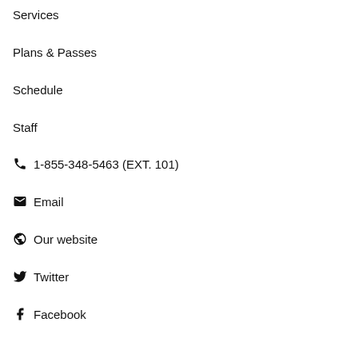Services
Plans & Passes
Schedule
Staff
☎ 1-855-348-5463 (EXT. 101)
✉ Email
🌐 Our website
🐦 Twitter
Facebook